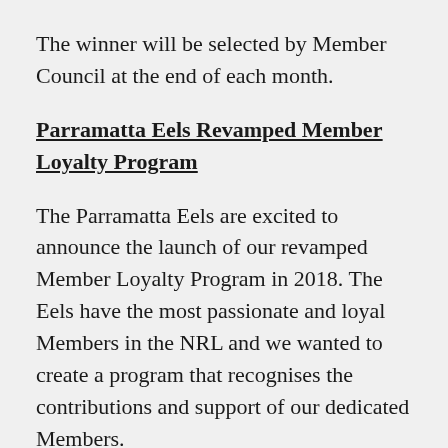The winner will be selected by Member Council at the end of each month.
Parramatta Eels Revamped Member Loyalty Program
The Parramatta Eels are excited to announce the launch of our revamped Member Loyalty Program in 2018. The Eels have the most passionate and loyal Members in the NRL and we wanted to create a program that recognises the contributions and support of our dedicated Members.
The decision to revamp our loyalty program was